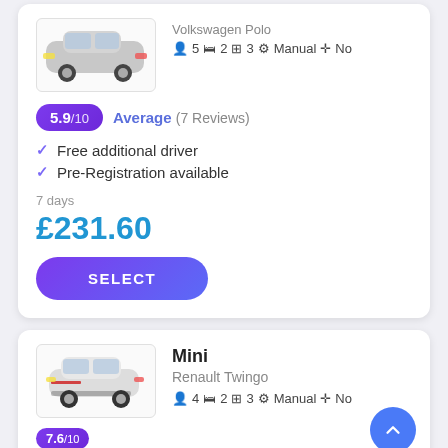[Figure (photo): Volkswagen Polo car image in a bordered box]
♟ 5 ⊟ 2 ▣ 3 ⚙ Manual ✛ No
5.9/10 Average (7 Reviews)
Free additional driver
Pre-Registration available
7 days
£231.60
SELECT
[Figure (photo): Renault Twingo car image in a bordered box]
Mini
Renault Twingo
♟ 4 ⊟ 2 ▣ 3 ⚙ Manual ✛ No